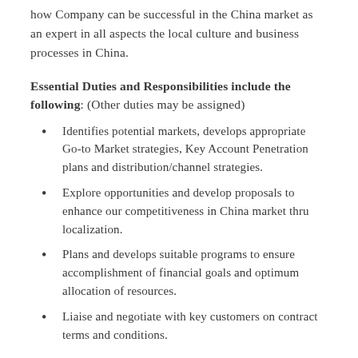how Company can be successful in the China market as an expert in all aspects the local culture and business processes in China.
Essential Duties and Responsibilities include the following: (Other duties may be assigned)
Identifies potential markets, develops appropriate Go-to Market strategies, Key Account Penetration plans and distribution/channel strategies.
Explore opportunities and develop proposals to enhance our competitiveness in China market thru localization.
Plans and develops suitable programs to ensure accomplishment of financial goals and optimum allocation of resources.
Liaise and negotiate with key customers on contract terms and conditions.